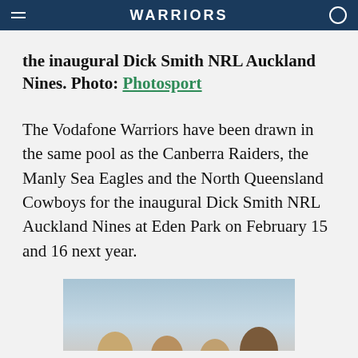WARRIORS
the inaugural Dick Smith NRL Auckland Nines. Photo: Photosport
The Vodafone Warriors have been drawn in the same pool as the Canberra Raiders, the Manly Sea Eagles and the North Queensland Cowboys for the inaugural Dick Smith NRL Auckland Nines at Eden Park on February 15 and 16 next year.
[Figure (photo): Partial photo showing tops of heads of players at the inaugural Dick Smith NRL Auckland Nines]